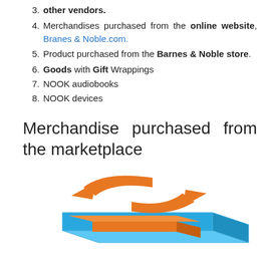other vendors.
Merchandises purchased from the online website, Branes & Noble.com.
Product purchased from the Barnes & Noble store.
Goods with Gift Wrappings
NOOK audiobooks
NOOK devices
Merchandise purchased from the marketplace
[Figure (illustration): An illustration showing two orange curved arrows pointing left and right (exchange/return icon) above a blue flat box/package, representing marketplace merchandise exchange or return.]